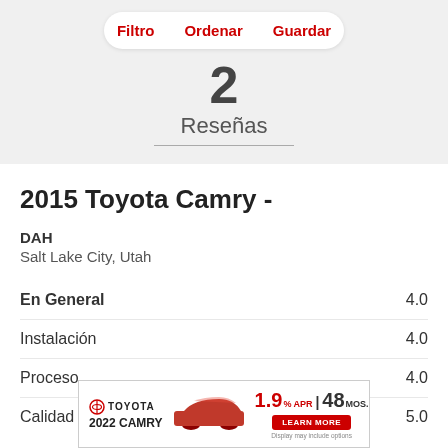Filtro  Ordenar  Guardar
2
Reseñas
2015 Toyota Camry -
DAH
Salt Lake City, Utah
| Category | Rating |
| --- | --- |
| En General | 4.0 |
| Instalación | 4.0 |
| Proceso | 4.0 |
| Calidad | 5.0 |
[Figure (infographic): Toyota 2022 Camry advertisement banner with 1.9% APR for 48 months offer and Learn More button]